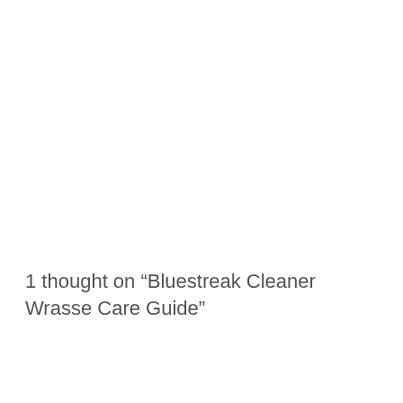1 thought on “Bluestreak Cleaner Wrasse Care Guide”